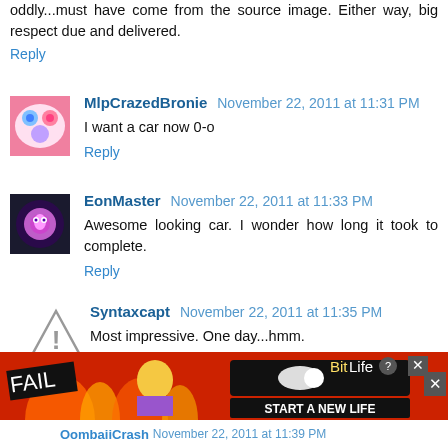oddly...must have come from the source image. Either way, big respect due and delivered.
Reply
MlpCrazedBronie  November 22, 2011 at 11:31 PM
I want a car now 0-o
Reply
EonMaster  November 22, 2011 at 11:33 PM
Awesome looking car. I wonder how long it took to complete.
Reply
Syntaxcapt  November 22, 2011 at 11:35 PM
Most impressive. One day...hmm.
Reply
[Figure (screenshot): Advertisement banner for BitLife game showing FAIL text, animated character, flames, and 'START A NEW LIFE' text]
OombaiiCrash  November 22, 2011 at 11:39 PM